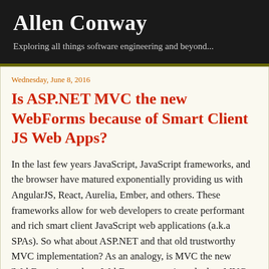Allen Conway
Exploring all things software engineering and beyond...
Wednesday, June 8, 2016
Is ASP.NET MVC the new WebForms because of Smart Client JS Web Apps?
In the last few years JavaScript, JavaScript frameworks, and the browser have matured exponentially providing us with AngularJS, React, Aurelia, Ember, and others. These frameworks allow for web developers to create performant and rich smart client JavaScript web applications (a.k.a SPAs). So what about ASP.NET and that old trustworthy MVC implementation? As an analogy, is MVC the new 'WebForms' as to how WebForms were viewed when MVC came to the scene? Is ASP.NET MVC obsolete or considered now 'old hat' from an implementation